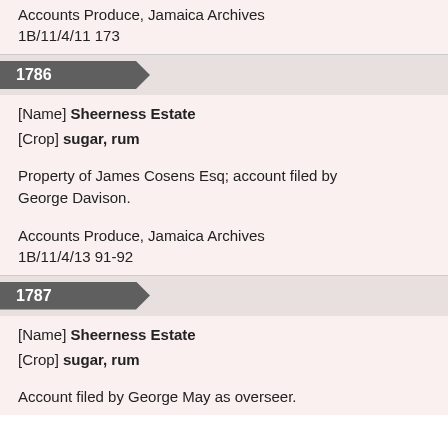Accounts Produce, Jamaica Archives
1B/11/4/11 173
1786
[Name] Sheerness Estate
[Crop] sugar, rum
Property of James Cosens Esq; account filed by George Davison.
Accounts Produce, Jamaica Archives
1B/11/4/13 91-92
1787
[Name] Sheerness Estate
[Crop] sugar, rum
Account filed by George May as overseer.